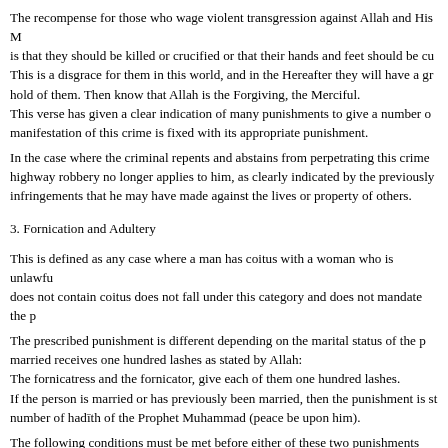The recompense for those who wage violent transgression against Allah and His M... is that they should be killed or crucified or that their hands and feet should be cut... This is a disgrace for them in this world, and in the Hereafter they will have a gre... hold of them. Then know that Allah is the Forgiving, the Merciful.
This verse has given a clear indication of many punishments to give a number of... manifestation of this crime is fixed with its appropriate punishment.
In the case where the criminal repents and abstains from perpetrating this crime b... highway robbery no longer applies to him, as clearly indicated by the previously... infringements that he may have made against the lives or property of others.
3. Fornication and Adultery
This is defined as any case where a man has coitus with a woman who is unlawfu... does not contain coitus does not fall under this category and does not mandate the p...
The prescribed punishment is different depending on the marital status of the p... married receives one hundred lashes as stated by Allah:
The fornicatress and the fornicator, give each of them one hundred lashes.
If the person is married or has previously been married, then the punishment is sto... number of hadīth of the Prophet Muhammad (peace be upon him).
The following conditions must be met before either of these two punishments can b...
1. Four trustworthy witnesses must give testimony that they have witnessed the act... agreement about all the details of the act, and about its place, time, and circumsta... considered false. In this case, instead of the punishment for fornication being carri... false witness will be carried out against the witnesses. Allah says: